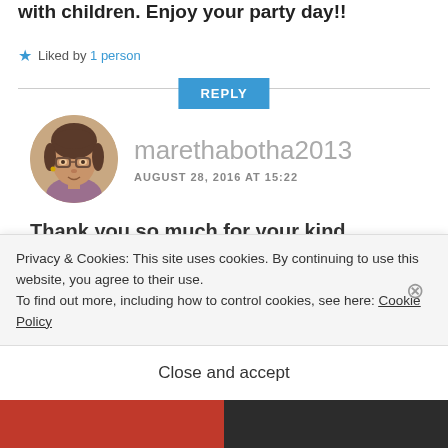with children. Enjoy your party day!!
Liked by 1 person
REPLY
marethabotha2013
AUGUST 28, 2016 AT 15:22
Thank you so much for your kind, encouraging comments, Jan! I'm really hoping to hear more via parents, or
Privacy & Cookies: This site uses cookies. By continuing to use this website, you agree to their use.
To find out more, including how to control cookies, see here: Cookie Policy
Close and accept